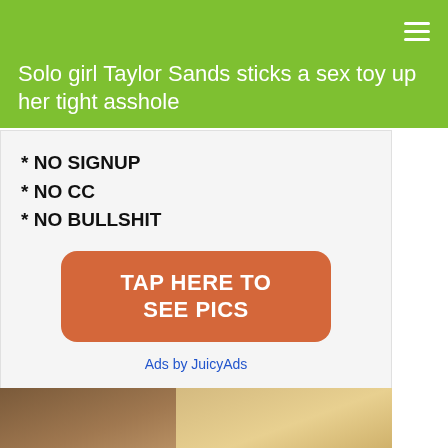Solo girl Taylor Sands sticks a sex toy up her tight asshole
[Figure (infographic): Advertisement banner: '* NO SIGNUP * NO CC * NO BULLSHIT' with orange rounded-rectangle button 'TAP HERE TO SEE PICS' and 'Ads by JuicyAds' link]
[Figure (photo): Photo of two young women (one dark-haired, one blonde) close together, cropped at bottom of page]